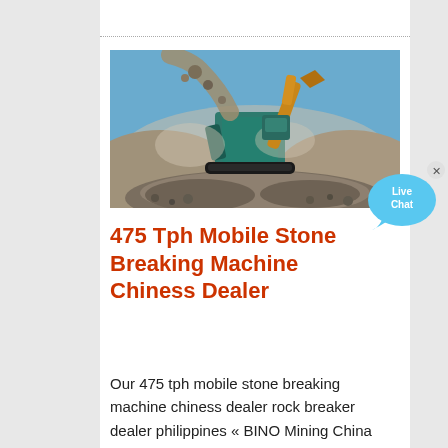[Figure (photo): A large mobile stone crushing/breaking machine operating outdoors, with rocks and debris falling from the machinery. A teal-colored industrial crusher is visible along with a yellow arm/boom. Blue sky and dust are visible in the background, with a large pile of crushed stone in the foreground.]
475 Tph Mobile Stone Breaking Machine Chiness Dealer
Our 475 tph mobile stone breaking machine chiness dealer rock breaker dealer philippines « BINO Mining China